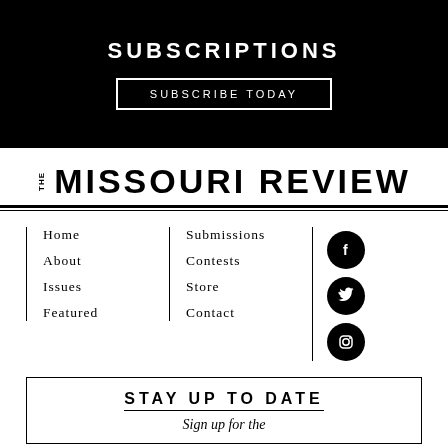SUBSCRIPTIONS
SUBSCRIBE TODAY
THE MISSOURI REVIEW
Home
About
Issues
Featured
Submissions
Contests
Store
Contact
STAY UP TO DATE
Sign up for the